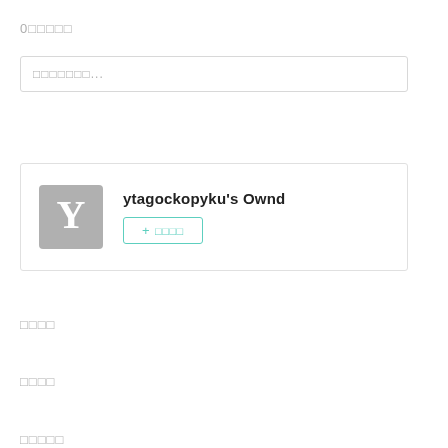0□□□□□
□□□□□□□...
[Figure (screenshot): User profile card for 'ytagockopyku's Ownd' with gray avatar showing letter Y and a follow button]
□□□□□
□□□□□
□□□□□□